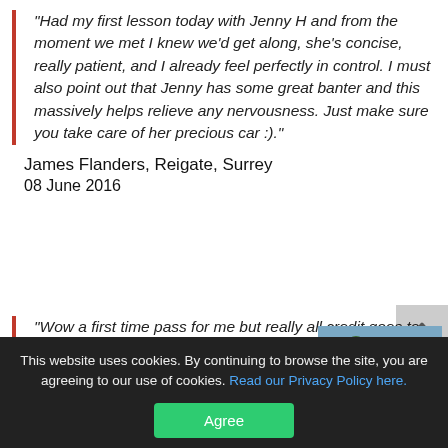"Had my first lesson today with Jenny H and from the moment we met I knew we'd get along, she's concise, really patient, and I already feel perfectly in control. I must also point out that Jenny has some great banter and this massively helps relieve any nervousness. Just make sure you take care of her precious car :)."
James Flanders, Reigate, Surrey
08 June 2016
"Wow a first time pass for me but really all credit goes to the amazing Jenny Hutchinson she has been well pretty
[Figure (photo): Street photo of a person standing outside on a residential road with trees and houses in the background]
This website uses cookies. By continuing to browse the site, you are agreeing to our use of cookies. Read our Privacy Policy here.